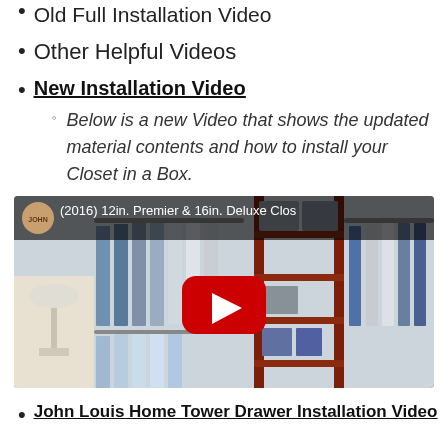Old Full Installation Video
Other Helpful Videos
New Installation Video
Below is a new Video that shows the updated material contents and how to install your Closet in a Box.
[Figure (screenshot): YouTube video thumbnail showing a closet organizer with red shelving, hanging clothes, and a YouTube play button. Title reads: (2016) 12in. Premier & 16in. Deluxe Closet]
John Louis Home Tower Drawer Installation Video